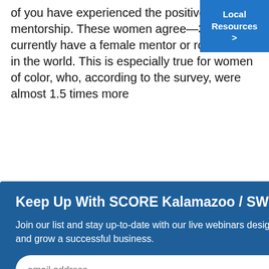of you have experienced the positive power of mentorship. These women agree—36% currently have a female mentor or role model in the world. This is especially true for women of color, who, according to the survey, were almost 1.5 times more
+2%
had
be a the
[Figure (screenshot): Modal popup overlay: 'Keep Up With SCORE Kalamazoo / SW Michigan' with email subscription form and SUBMIT button on blue background]
SCORE mentor today and keep growing your business!